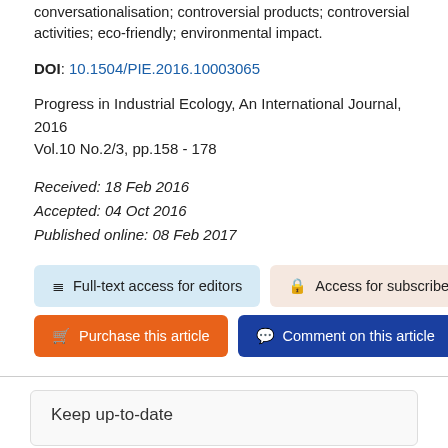conversationalisation; controversial products; controversial activities; eco-friendly; environmental impact.
DOI: 10.1504/PIE.2016.10003065
Progress in Industrial Ecology, An International Journal, 2016
Vol.10 No.2/3, pp.158 - 178
Received: 18 Feb 2016
Accepted: 04 Oct 2016
Published online: 08 Feb 2017
Full-text access for editors | Access for subscribers | Purchase this article | Comment on this article
Keep up-to-date